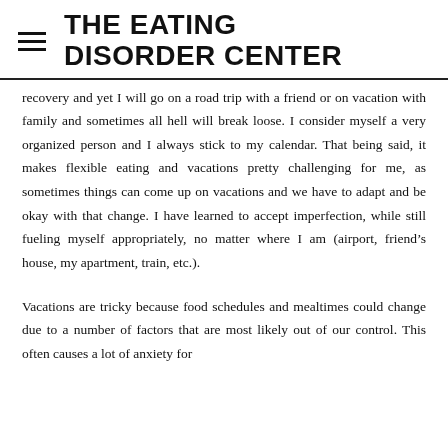THE EATING DISORDER CENTER
recovery and yet I will go on a road trip with a friend or on vacation with family and sometimes all hell will break loose.  I consider myself a very organized person and I always stick to my calendar.  That being said, it makes flexible eating and vacations pretty challenging for me, as sometimes things can come up on vacations and we have to adapt and be okay with that change.  I have learned to accept imperfection, while still fueling myself appropriately, no matter where I am (airport, friend’s house, my apartment, train, etc.).
Vacations are tricky because food schedules and mealtimes could change due to a number of factors that are most likely out of our control.  This often causes a lot of anxiety for